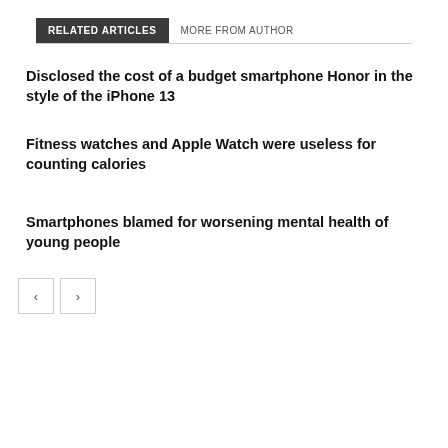RELATED ARTICLES   MORE FROM AUTHOR
Disclosed the cost of a budget smartphone Honor in the style of the iPhone 13
Fitness watches and Apple Watch were useless for counting calories
Smartphones blamed for worsening mental health of young people